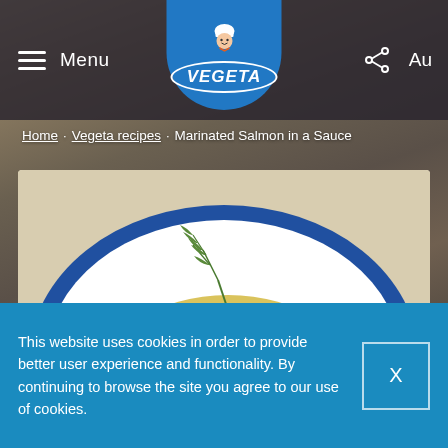Menu | VEGETA | Au
Home · Vegeta recipes · Marinated Salmon in a Sauce
[Figure (photo): A plate of Marinated Salmon in a Sauce served on a white plate with blue rim, garnished with dill fronds, with mushrooms and yellow sauce, with an orange-bordered circle overlay reading REMEMBER THE RECIPE]
This website uses cookies in order to provide better user experience and functionality. By continuing to browse the site you agree to our use of cookies.